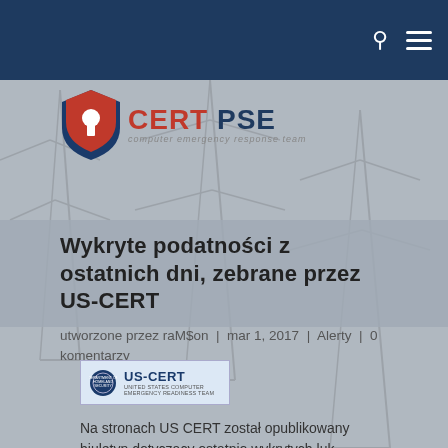[Figure (logo): CERT PSE logo with red shield icon and text 'CERT PSE computer emergency response team']
Wykryte podatności z ostatnich dni, zebrane przez US-CERT
utworzone przez raM$on | mar 1, 2017 | Alerty | 0 komentarzy
[Figure (logo): US-CERT badge/logo]
Na stronach US CERT został opublikowany biuletyn dotyczący ostatnio wykrytych luk